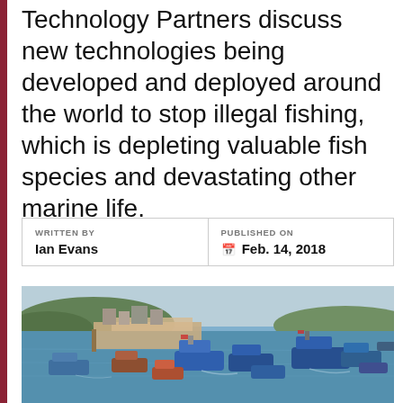Technology Partners discuss new technologies being developed and deployed around the world to stop illegal fishing, which is depleting valuable fish species and devastating other marine life.
| WRITTEN BY | PUBLISHED ON |
| --- | --- |
| Ian Evans | Feb. 14, 2018 |
[Figure (photo): Aerial view of a busy fishing harbor with many fishing boats on the water, some boats docked at a pier while others are scattered across the blue-green sea near a coastal town.]